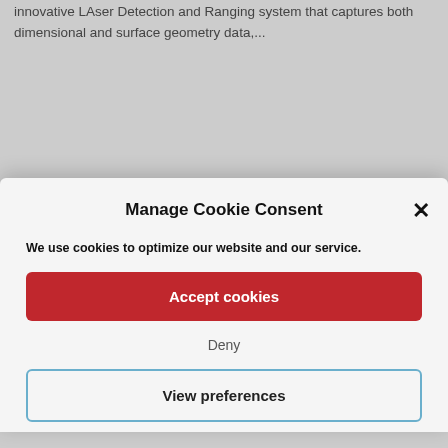innovative LAser Detection and Ranging system that captures both dimensional and surface geometry data,...
[Figure (photo): Red and black handheld laser scanning device (LIDAR instrument)]
[Figure (photo): Red background with white text reading 'WHAT IS']
Manage Cookie Consent
We use cookies to optimize our website and our service.
Accept cookies
Deny
View preferences